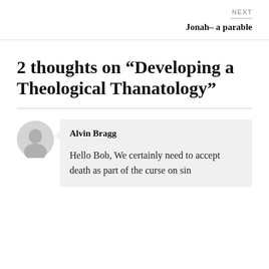NEXT
Jonah– a parable
2 thoughts on “Developing a Theological Thanatology”
Alvin Bragg
Hello Bob, We certainly need to accept death as part of the curse on sin